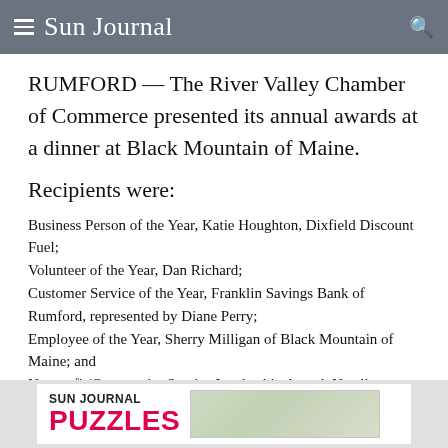Sun Journal
RUMFORD — The River Valley Chamber of Commerce presented its annual awards at a dinner at Black Mountain of Maine.
Recipients were:
Business Person of the Year, Katie Houghton, Dixfield Discount Fuel; Volunteer of the Year, Dan Richard; Customer Service of the Year, Franklin Savings Bank of Rumford, represented by Diane Perry; Employee of the Year, Sherry Milligan of Black Mountain of Maine; and Nonprofit/Community Service Leadership Award, Natalie Sneller, Canton Busy Bees 4-H Club.
[Figure (logo): Sun Journal Puzzles advertisement banner with bold pink PUZZLES text and a crossword puzzle background image]